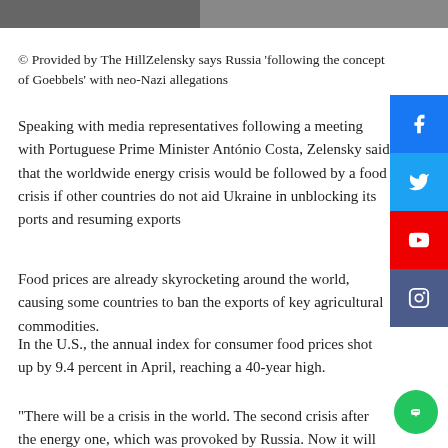[Figure (photo): Top image strip showing a partial photo, cropped at top of page]
© Provided by The HillZelensky says Russia 'following the concept of Goebbels' with neo-Nazi allegations
Speaking with media representatives following a meeting with Portuguese Prime Minister António Costa, Zelensky said that the worldwide energy crisis would be followed by a food crisis if other countries do not aid Ukraine in unblocking its ports and resuming exports
Food prices are already skyrocketing around the world, causing some countries to ban the exports of key agricultural commodities.
In the U.S., the annual index for consumer food prices shot up by 9.4 percent in April, reaching a 40-year high.
“There will be a crisis in the world. The second crisis after the energy one, which was provoked by Russia. Now it will create a food crisis if we do not unblock the routes for Ukraine, do not help the countries of